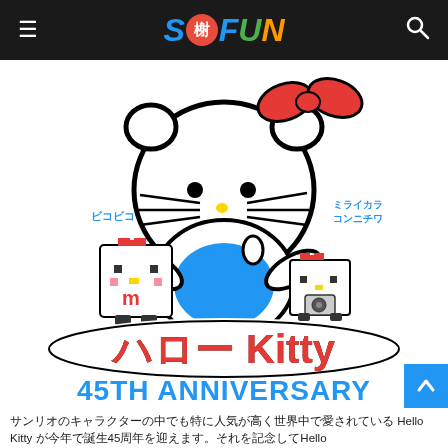SoFUN (logo header with hamburger menu and search icon)
[Figure (illustration): Hello Kitty 45th Anniversary official artwork featuring Hello Kitty character in the center with red bow, sitting with a blue outfit, flanked by two pixel-art chibi versions of Hello Kitty on left and right. Japanese text on left reads ビコビコ (vertically) and on right reads ミライカラコンニチワ (vertically). Below the character is the Hello Kitty logo in large red bubble letters in Japanese style, and underneath reads '45TH ANNIVERSARY' in large blue bold text.]
サンリオのキャラクターの中でも特に人気が高く世界中で愛されている Hello Kitty が今年で誕生45周年を迎えます。それを記念してHello